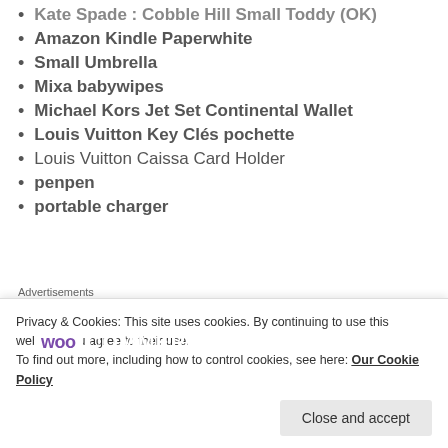Kate Spade : Cobble Hill Small Toddy (OK)
Amazon Kindle Paperwhite
Small Umbrella
Mixa babywipes
Michael Kors Jet Set Continental Wallet
Louis Vuitton Key Clés pochette
Louis Vuitton Caissa Card Holder
penpen
portable charger
[Figure (other): WooCommerce advertisement banner with purple gradient background and WooCommerce logo in white]
Privacy & Cookies: This site uses cookies. By continuing to use this website, you agree to their use. To find out more, including how to control cookies, see here: Our Cookie Policy
Close and accept